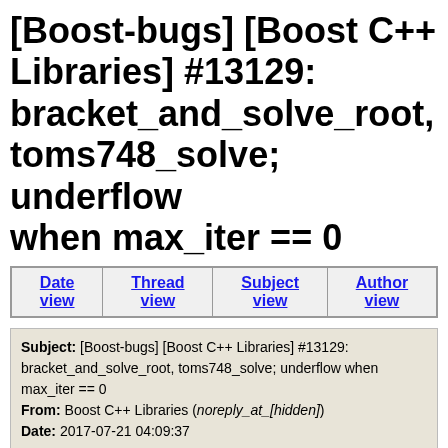[Boost-bugs] [Boost C++ Libraries] #13129: bracket_and_solve_root, toms748_solve; underflow when max_iter == 0
| Date view | Thread view | Subject view | Author view |
| --- | --- | --- | --- |
Subject: [Boost-bugs] [Boost C++ Libraries] #13129: bracket_and_solve_root, toms748_solve; underflow when max_iter == 0
From: Boost C++ Libraries (noreply_at_[hidden])
Date: 2017-07-21 04:09:37
Next message: Boost C++ Libraries: "Re: [Boost-bugs] [Boost C++ Libraries] #12723: ./boost/mpi/detail/mpi_datatype_primitive.hpp:28:51: fatal error: boost/serialization/detail/get_data.hpp: No such file or"